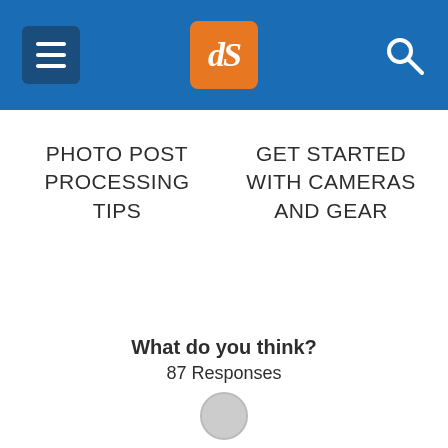dPS navigation header with hamburger menu, logo, and search icon
PHOTO POST PROCESSING TIPS
GET STARTED WITH CAMERAS AND GEAR
What do you think?
87 Responses